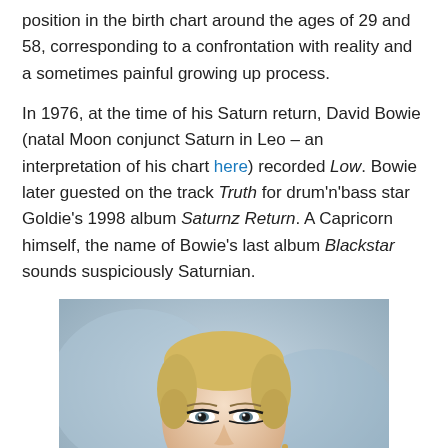position in the birth chart around the ages of 29 and 58, corresponding to a confrontation with reality and a sometimes painful growing up process.
In 1976, at the time of his Saturn return, David Bowie (natal Moon conjunct Saturn in Leo – an interpretation of his chart here) recorded Low. Bowie later guested on the track Truth for drum'n'bass star Goldie's 1998 album Saturnz Return. A Capricorn himself, the name of Bowie's last album Blackstar sounds suspiciously Saturnian.
[Figure (photo): Portrait photograph of a young woman with short blonde hair, dramatic eye makeup, and bare shoulders, photographed against a blurred blue-grey background.]